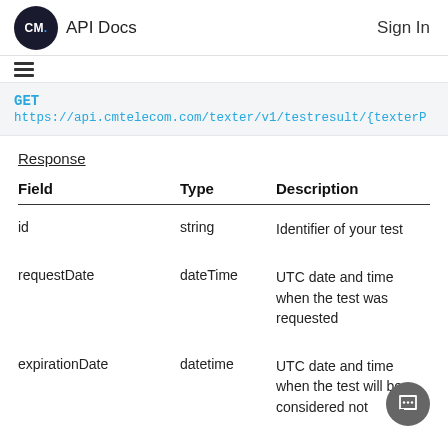CM. API Docs   Sign In
GET https://api.cmtelecom.com/texter/v1/testresult/{texterP
Response
| Field | Type | Description |
| --- | --- | --- |
| id | string | Identifier of your test |
| requestDate | dateTime | UTC date and time when the test was requested |
| expirationDate | datetime | UTC date and time when the test will be considered not |